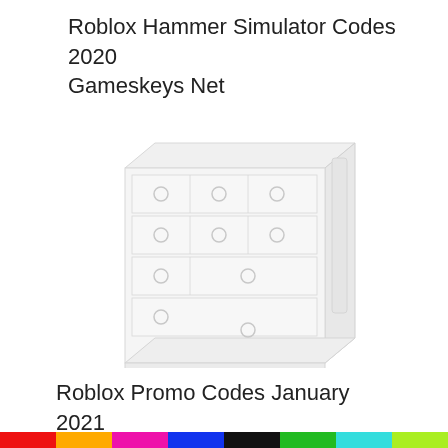Roblox Hammer Simulator Codes 2020 Gameskeys Net
[Figure (illustration): A white wooden chest of drawers (dresser) with multiple drawers featuring round knobs, shown in a light gray/white low-contrast illustration style against a white background.]
Roblox Promo Codes January 2021
[Figure (infographic): A horizontal color bar strip at the bottom of the page with segments in red, yellow/orange, magenta, blue, black, green, and other colors.]